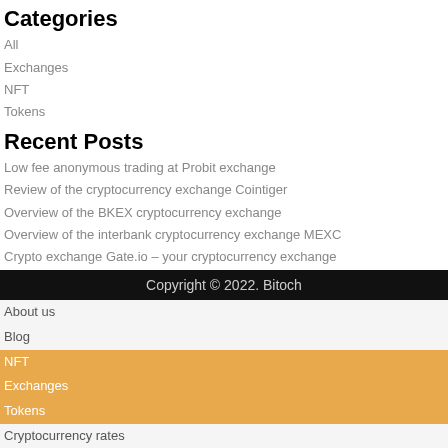Categories
All
Exchanges
NFT
Tokens
Recent Posts
Low fee anonymous trading at Probit exchange
Review of the cryptocurrency exchange Cointiger
Overview of the BKEX cryptocurrency exchange
Overview of the interbank cryptocurrency exchange MEXC
Crypto exchange Gate.io – your cryptocurrency exchange
Copyright © 2022. Bitoch
About us
Blog
NFT
Exchanges
Tokens
Cryptocurrency rates
Advertising
Contacts
EN